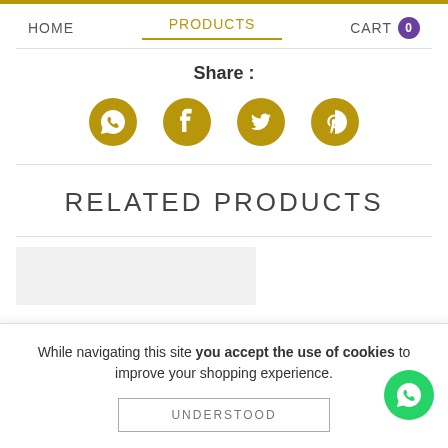HOME  PRODUCTS  CART 0
Share :
[Figure (other): Social sharing icons: WhatsApp, Facebook, Twitter, Pinterest – all in gold color]
RELATED PRODUCTS
[Figure (other): Green WhatsApp floating button (circle) in bottom right]
[Figure (other): Gray product placeholder card]
While navigating this site you accept the use of cookies to improve your shopping experience.
UNDERSTOOD